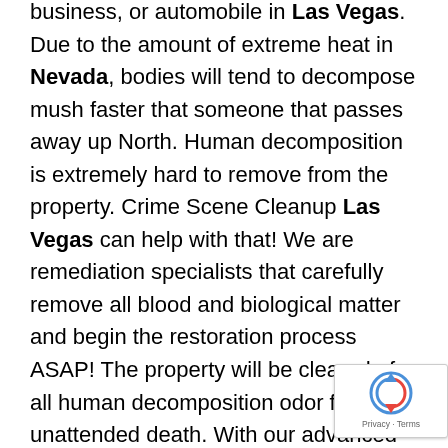business, or automobile in Las Vegas. Due to the amount of extreme heat in Nevada, bodies will tend to decompose mush faster that someone that passes away up North. Human decomposition is extremely hard to remove from the property. Crime Scene Cleanup Las Vegas can help with that! We are remediation specialists that carefully remove all blood and biological matter and begin the restoration process ASAP! The property will be cleared of all human decomposition odor from the unattended death. With our advanced training and years of experience, we will have your emergency under control and remediated as soon as possible. Situations like unattended deaths, medical accidents, and hoarding situations, Crime Scene Cleanup Las Vegas can be there for you and your family. These types of death scenes are some of the many of the tasks that we handle on a daily basis in Las Vegas, Nevada. Cleaning services provided;
Unattended deaths